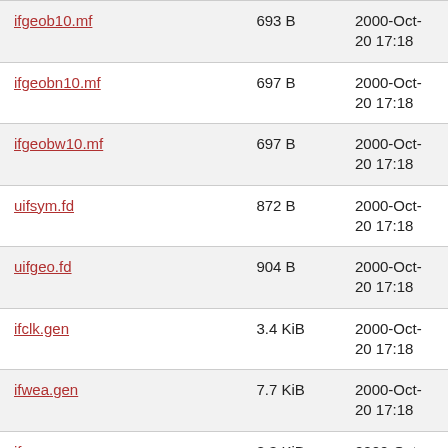| Filename | Size | Date |
| --- | --- | --- |
| ifgeob10.mf | 693 B | 2000-Oct-20 17:18 |
| ifgeobn10.mf | 697 B | 2000-Oct-20 17:18 |
| ifgeobw10.mf | 697 B | 2000-Oct-20 17:18 |
| uifsym.fd | 872 B | 2000-Oct-20 17:18 |
| uifgeo.fd | 904 B | 2000-Oct-20 17:18 |
| ifclk.gen | 3.4 KiB | 2000-Oct-20 17:18 |
| ifwea.gen | 7.7 KiB | 2000-Oct-20 17:18 |
| ifgeo.gen | 8.3 KiB | 2000-Oct-20 17:18 |
| ifsym.sty | 10.0 KiB | 2001-Aug-21 14:35 |
| ifsym.gen | 16.3 KiB | 2000-Oct-20 17:18 |
| ifsym.ps | 643.7 KiB | 2001-Aug-21 14:33 |